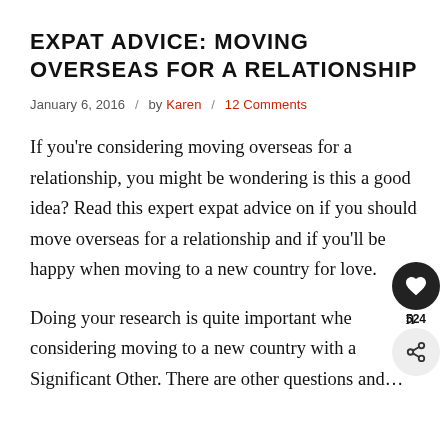EXPAT ADVICE: MOVING OVERSEAS FOR A RELATIONSHIP
January 6, 2016  /  by Karen  /  12 Comments
If you're considering moving overseas for a relationship, you might be wondering is this a good idea? Read this expert expat advice on if you should move overseas for a relationship and if you'll be happy when moving to a new country for love.
Doing your research is quite important when considering moving to a new country with a Significant Other. There are other questions and…